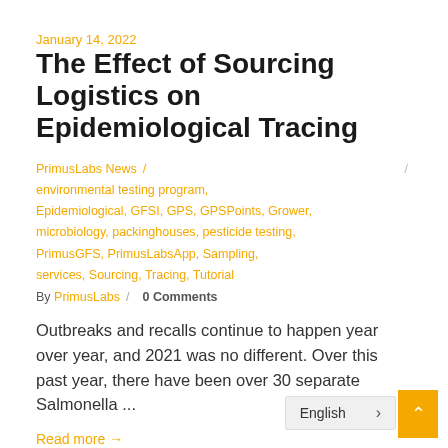January 14, 2022
The Effect of Sourcing Logistics on Epidemiological Tracing
PrimusLabs News / environmental testing program, Epidemiological, GFSI, GPS, GPSPoints, Grower, microbiology, packinghouses, pesticide testing, PrimusGFS, PrimusLabsApp, Sampling, services, Sourcing, Tracing, Tutorial
By PrimusLabs / 0 Comments
Outbreaks and recalls continue to happen year over year, and 2021 was no different. Over this past year, there have been over 30 separate Salmonella ...
Read more →